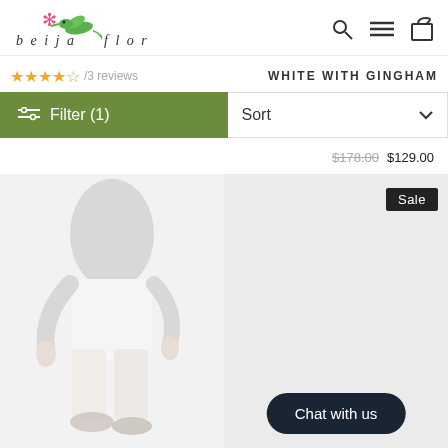[Figure (logo): Beija Flor logo with hummingbird and pink asterisk/flower]
beija flor — navigation icons: search, menu, cart
★★★★½ /3 reviews
WHITE WITH GINGHAM
Filter (1)
Sort
$178.00  $129.00
[Figure (photo): Person wearing white shorts, showing lower body from waist down]
[Figure (photo): Right product photo area, mostly white/blank]
Sale
Chat with us